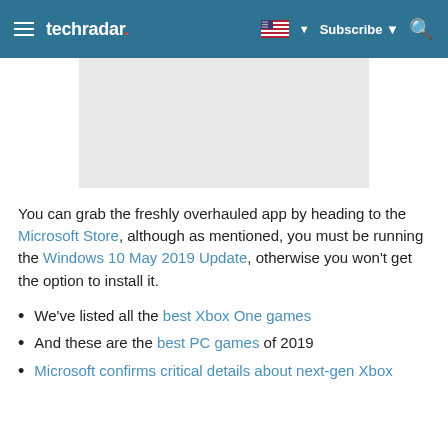techradar | Subscribe
[Figure (other): Gray placeholder image / advertisement block]
You can grab the freshly overhauled app by heading to the Microsoft Store, although as mentioned, you must be running the Windows 10 May 2019 Update, otherwise you won't get the option to install it.
We've listed all the best Xbox One games
And these are the best PC games of 2019
Microsoft confirms critical details about next-gen Xbox